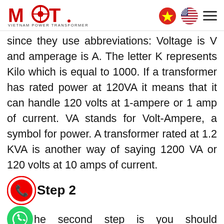MBT. VIETNAM POWER TRANSFORMER
since they use abbreviations: Voltage is V and amperage is A. The letter K represents Kilo which is equal to 1000. If a transformer has rated power at 120VA it means that it can handle 120 volts at 1-ampere or 1 amp of current. VA stands for Volt-Ampere, a symbol for power. A transformer rated at 1.2 KVA is another way of saying 1200 VA or 120 volts at 10 amps of current.
Step 2
The second step is you should calculate the load which places on the transformer. All electrical appliances have the rated wattage on the